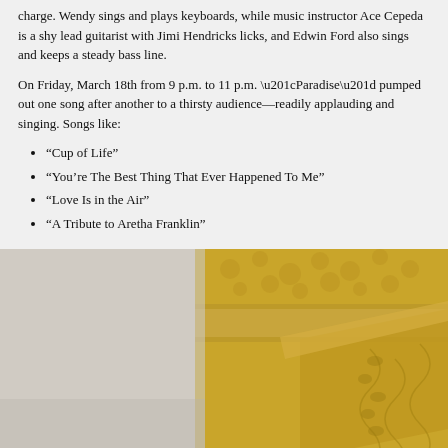charge. Wendy sings and plays keyboards, while music instructor Ace Cepeda is a shy lead guitarist with Jimi Hendricks licks, and Edwin Ford also sings and keeps a steady bass line.
On Friday, March 18th from 9 p.m. to 11 p.m. “Paradise” pumped out one song after another to a thirsty audience—readily applauding and singing. Songs like:
“Cup of Life”
“You’re The Best Thing That Ever Happened To Me”
“Love Is in the Air”
“A Tribute to Aretha Franklin”
[Figure (photo): A person wearing a golden/yellow patterned traditional garment or robe, partially visible from the shoulders up, with decorative fabric in the background. Only the top of the person's head is visible at the bottom of the image.]